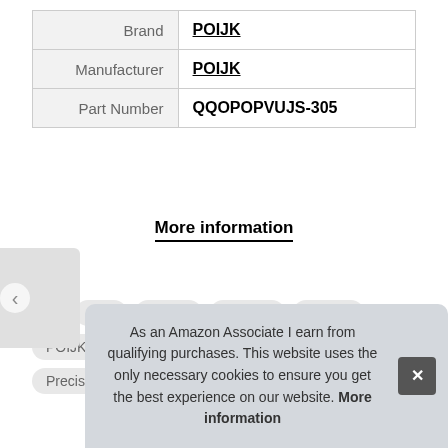|  |  |
| --- | --- |
| Brand | POIJK |
| Manufacturer | POIJK |
| Part Number | QQOPOPVUJS-305 |
More information
Tags: 666 ACAR Keenso Luckily POIJK Precision Upgrades
As an Amazon Associate I earn from qualifying purchases. This website uses the only necessary cookies to ensure you get the best experience on our website. More information